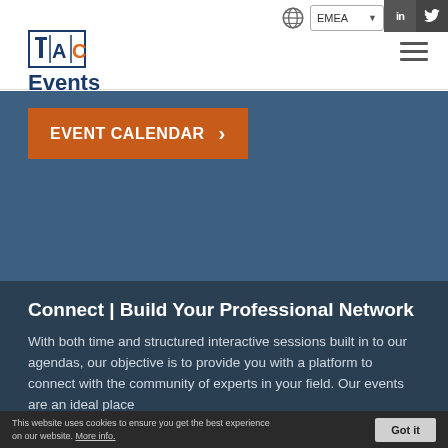TAC Events — A TAC Insights brand | EMEA
[Figure (logo): TAC Events logo with TAC in blue bordered box and 'Events' text below, tagline 'A TAC Insights brand']
EVENT CALENDAR ›
Connect | Build Your Professional Network
With both time and structured interactive sessions built in to our agendas, our objective is to provide you with a platform to connect with the community of experts in your field. Our events are an ideal place
This website uses cookies to ensure you get the best experience on our website. More info.